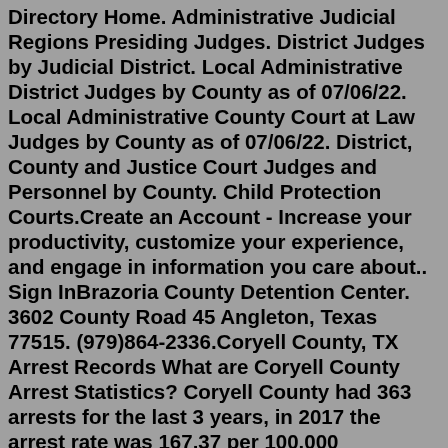Directory Home. Administrative Judicial Regions Presiding Judges. District Judges by Judicial District. Local Administrative District Judges by County as of 07/06/22. Local Administrative County Court at Law Judges by County as of 07/06/22. District, County and Justice Court Judges and Personnel by County. Child Protection Courts.Create an Account - Increase your productivity, customize your experience, and engage in information you care about.. Sign InBrazoria County Detention Center. 3602 County Road 45 Angleton, Texas 77515. (979)864-2336.Coryell County, TX Arrest Records What are Coryell County Arrest Statistics? Coryell County had 363 arrests for the last 3 years, in 2017 the arrest rate was 167.37 per 100.000 population which is by 77.35% lower than the National average of 739.02 per 100.000 inhabitants. To lookup inmates in Travis County Jail, you can use the Sheriff's Inmate Population Reporting System, or call the jail at 512-854-4180 to search for an inmate by phone. Now, type an inmate's name, and submit to view the jail records. If there are any results, select a